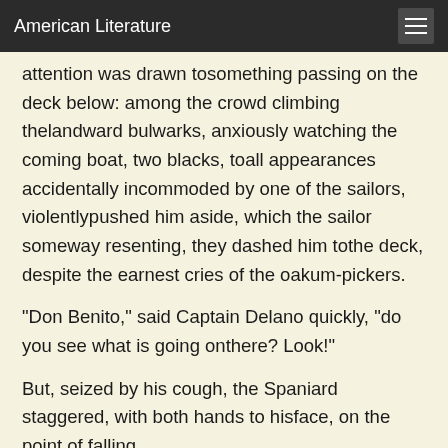American Literature
attention was drawn tosomething passing on the deck below: among the crowd climbing thelandward bulwarks, anxiously watching the coming boat, two blacks, toall appearances accidentally incommoded by one of the sailors, violentlypushed him aside, which the sailor someway resenting, they dashed him tothe deck, despite the earnest cries of the oakum-pickers.
"Don Benito," said Captain Delano quickly, "do you see what is going onthere? Look!"
But, seized by his cough, the Spaniard staggered, with both hands to hisface, on the point of falling. Captain Delano would have supported him, but the